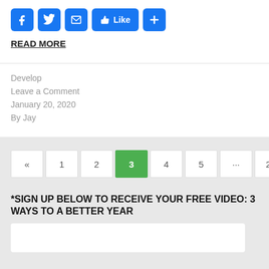[Figure (other): Social share buttons: Facebook, Twitter, Email, Like, and a plus/add button]
READ MORE
Develop
Leave a Comment
January 20, 2020
By Jay
Pagination navigation: « 1 2 3 4 5 … 29 »
*SIGN UP BELOW TO RECEIVE YOUR FREE VIDEO: 3 WAYS TO A BETTER YEAR